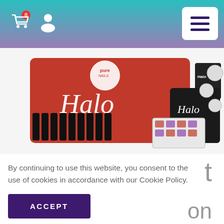Navigation bar with cart icon (0), user icon, and hamburger menu
[Figure (photo): Product photo showing Halo nail gel products by Pure Nails — red branded bag, multiple gel polish bottles, glitter pots, and a storage case on a white background with 'Halo' branding text overlaid]
By continuing to use this website, you consent to the use of cookies in accordance with our Cookie Policy.
ACCEPT